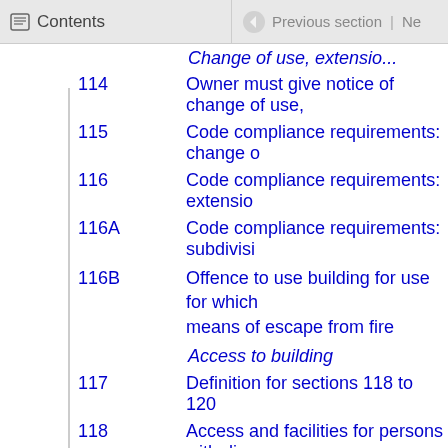Contents | Previous section
Change of use, extensio...
114  Owner must give notice of change of use,
115  Code compliance requirements: change o
116  Code compliance requirements: extensio
116A  Code compliance requirements: subdivisi
116B  Offence to use building for use for which means of escape from fire
Access to building
117  Definition for sections 118 to 120
118  Access and facilities for persons with disa
119  Acceptable solution for requirements of p
120  Symbols of access must be displayed
Subpart 6—Special provisions for
Interpretation
121  Meaning of dangerous building
121A  Meaning of affected building